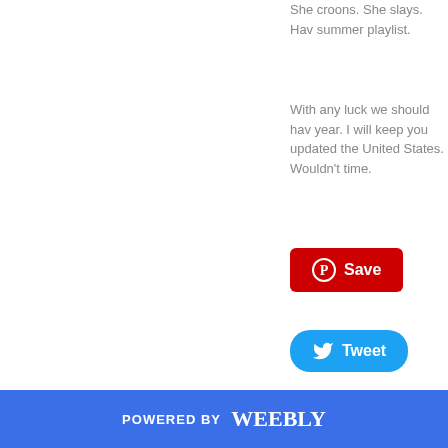She croons. She slays. Hav summer playlist.
With any luck we should hav year. I will keep you updated the United States. Wouldn't time.
[Figure (other): Pinterest Save button - red rounded rectangle with Pinterest circle logo and 'Save' text in white]
[Figure (other): Twitter Tweet button - blue pill-shaped button with Twitter bird logo and 'Tweet' text in white]
0 Comments
POWERED BY weebly